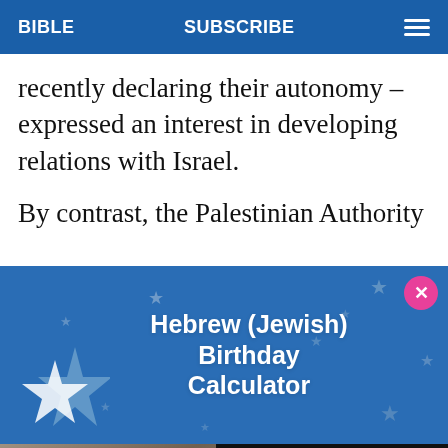BIBLE   SUBSCRIBE   ☰
recently declaring their autonomy – expressed an interest in developing relations with Israel.
By contrast, the Palestinian Authority
[Figure (infographic): Advertisement banner with blue background, decorative stars, and text: Hebrew (Jewish) Birthday Calculator. Pink close (X) button in top-right corner.]
[Figure (screenshot): Video player strip showing rubble scene thumbnail with play button on left, and text 'Israel, Palestinian militants declare Gaza truce' with close button on dark background on right.]